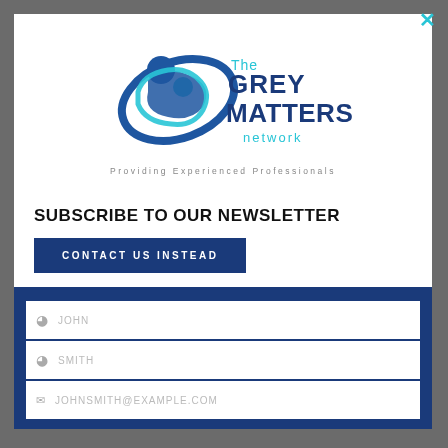[Figure (logo): The Grey Matters Network logo with swoosh figures and tagline 'Providing Experienced Professionals']
SUBSCRIBE TO OUR NEWSLETTER
CONTACT US INSTEAD
[Figure (screenshot): Newsletter subscription form with fields: JOHN (first name), SMITH (last name), JOHNSMITH@EXAMPLE.COM (email)]